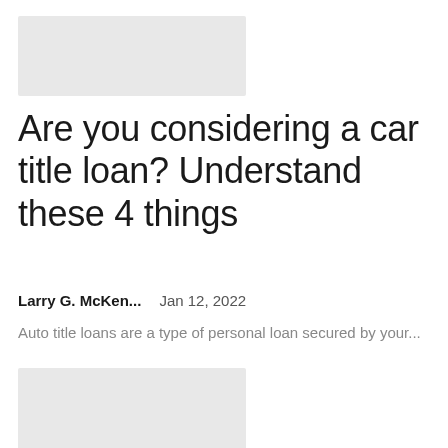[Figure (photo): Light gray placeholder image at top]
Are you considering a car title loan? Understand these 4 things
Larry G. McKen...    Jan 12, 2022
Auto title loans are a type of personal loan secured by your...
[Figure (photo): Light gray placeholder image at bottom]